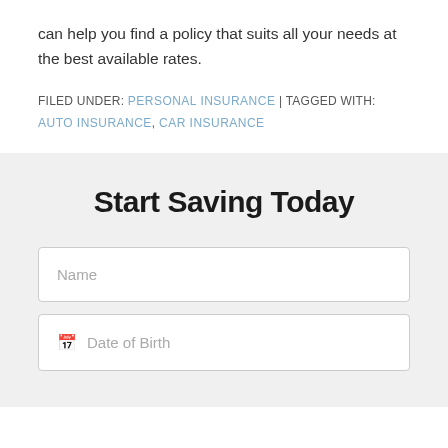can help you find a policy that suits all your needs at the best available rates.
FILED UNDER: PERSONAL INSURANCE | TAGGED WITH: AUTO INSURANCE, CAR INSURANCE
Start Saving Today
Name
Date of Birth